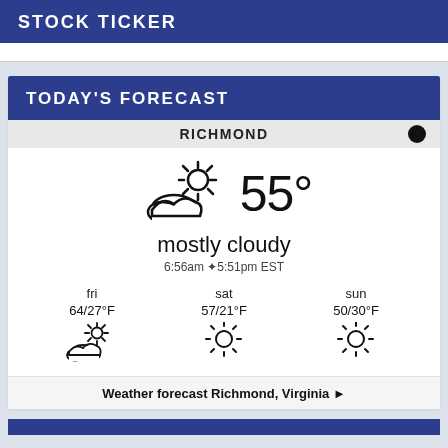STOCK TICKER
TODAY'S FORECAST
RICHMOND
[Figure (infographic): Weather icon: partly cloudy sun, temperature 55°, condition 'mostly cloudy', sunrise 6:56am, sunset 5:51pm EST. 3-day forecast: fri 64/27°F partly cloudy, sat 57/21°F sunny, sun 50/30°F sunny.]
Weather forecast Richmond, Virginia ►